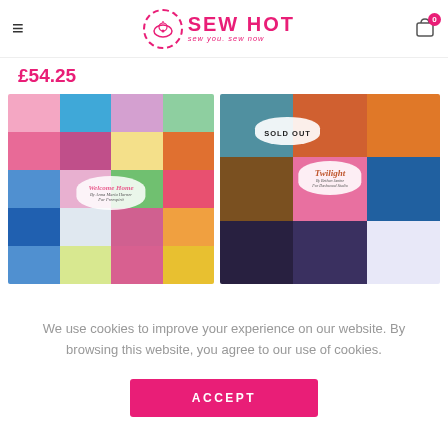Sew Hot - sew you. sew now
£54.25
[Figure (photo): Left product image: colorful patchwork fabric collection 'Welcome Home by Anna Maria Horner for Freespirit' shown as a grid of fabric swatches in bright colors]
[Figure (photo): Right product image: 'Twilight by Bethan Janine for Dashwood Studio' fabric collection shown as a grid of swatches with skulls, owls, and Halloween-themed prints. Marked SOLD OUT.]
We use cookies to improve your experience on our website. By browsing this website, you agree to our use of cookies.
ACCEPT